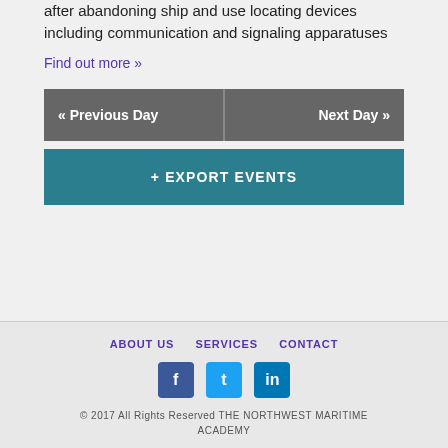after abandoning ship and use locating devices including communication and signaling apparatuses
Find out more »
« Previous Day
Next Day »
+ EXPORT EVENTS
ABOUT US   SERVICES   CONTACT
© 2017 All Rights Reserved THE NORTHWEST MARITIME ACADEMY